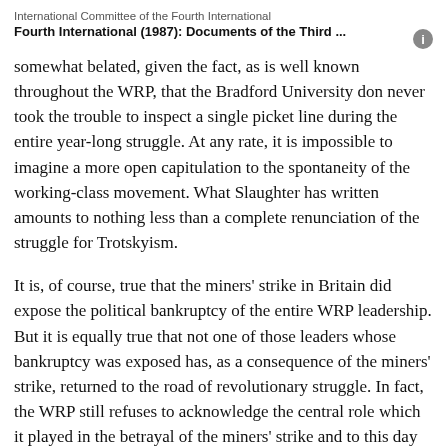International Committee of the Fourth International
Fourth International (1987): Documents of the Third ...
somewhat belated, given the fact, as is well known throughout the WRP, that the Bradford University don never took the trouble to inspect a single picket line during the entire year-long struggle. At any rate, it is impossible to imagine a more open capitulation to the spontaneity of the working-class movement. What Slaughter has written amounts to nothing less than a complete renunciation of the struggle for Trotskyism.
It is, of course, true that the miners' strike in Britain did expose the political bankruptcy of the entire WRP leadership. But it is equally true that not one of those leaders whose bankruptcy was exposed has, as a consequence of the miners' strike, returned to the road of revolutionary struggle. In fact, the WRP still refuses to acknowledge the central role which it played in the betrayal of the miners' strike and to this day defends the